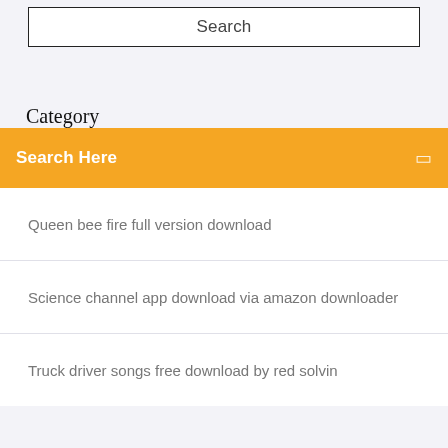[Figure (screenshot): Search box UI element with text 'Search' centered inside a bordered rectangle]
Category
Search Here
Queen bee fire full version download
Science channel app download via amazon downloader
Truck driver songs free download by red solvin